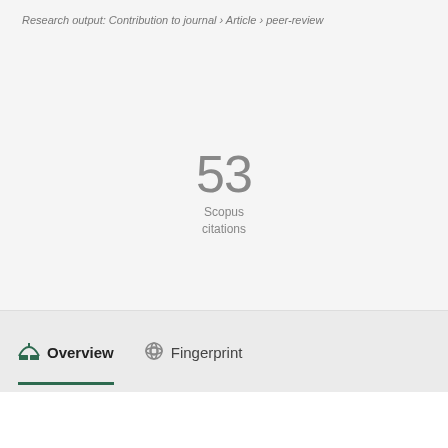Research output: Contribution to journal › Article › peer-review
53
Scopus
citations
Overview
Fingerprint
Abstract